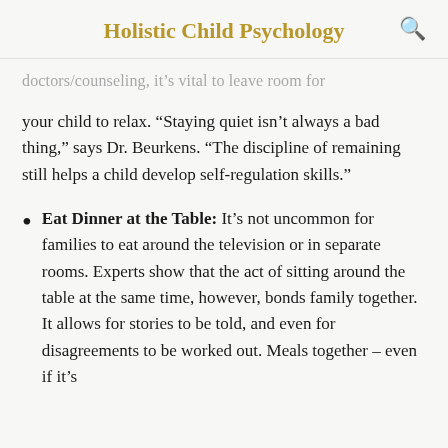Holistic Child Psychology
doctors/counseling, it's vital to leave room for your child to relax. “Staying quiet isn’t always a bad thing,” says Dr. Beurkens. “The discipline of remaining still helps a child develop self-regulation skills.”
Eat Dinner at the Table: It’s not uncommon for families to eat around the television or in separate rooms. Experts show that the act of sitting around the table at the same time, however, bonds family together. It allows for stories to be told, and even for disagreements to be worked out. Meals together – even if it’s